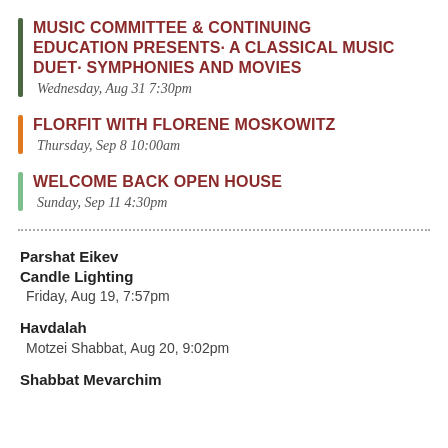MUSIC COMMITTEE & CONTINUING EDUCATION PRESENTS· A CLASSICAL MUSIC DUET· SYMPHONIES AND MOVIES
Wednesday, Aug 31 7:30pm
FLORFIT WITH FLORENE MOSKOWITZ
Thursday, Sep 8 10:00am
WELCOME BACK OPEN HOUSE
Sunday, Sep 11 4:30pm
Parshat Eikev
Candle Lighting
Friday, Aug 19, 7:57pm
Havdalah
Motzei Shabbat, Aug 20, 9:02pm
Shabbat Mevarchim